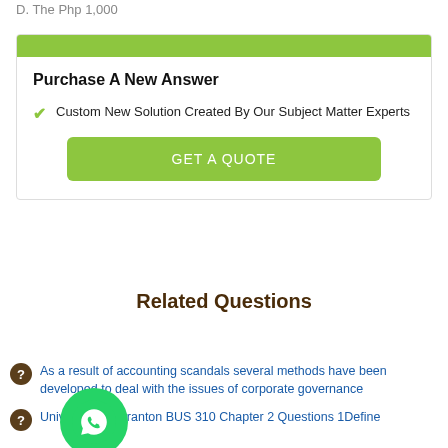D. The Php 1,000
Purchase A New Answer
Custom New Solution Created By Our Subject Matter Experts
GET A QUOTE
Related Questions
As a result of accounting scandals several methods have been developed to deal with the issues of corporate governance
University of Scranton BUS 310 Chapter 2 Questions 1Define